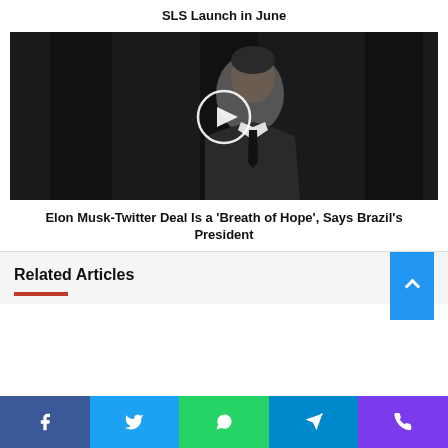SLS Launch in June
[Figure (photo): Man in dark suit with black tie viewed from the side, standing in front of black and white vertical panels, with a white circular play button overlay]
Elon Musk-Twitter Deal Is a 'Breath of Hope', Says Brazil's President
Related Articles